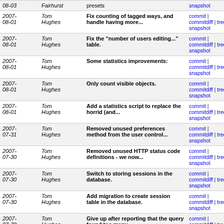| date | author | message | links |
| --- | --- | --- | --- |
| 2007-08-03 | Fairhurst | presets | commit | commitdiff | tree | snapshot |
| 2007-08-01 | Tom Hughes | Fix counting of tagged ways, and handle having more... | commit | commitdiff | tree | snapshot |
| 2007-08-01 | Tom Hughes | Fix the "number of users editing..." table. | commit | commitdiff | tree | snapshot |
| 2007-08-01 | Tom Hughes | Some statistics improvements: | commit | commitdiff | tree | snapshot |
| 2007-08-01 | Tom Hughes | Only count visible objects. | commit | commitdiff | tree | snapshot |
| 2007-08-01 | Tom Hughes | Add a statistics script to replace the horrid (and... | commit | commitdiff | tree | snapshot |
| 2007-07-31 | Tom Hughes | Removed unused preferences method from the user control... | commit | commitdiff | tree | snapshot |
| 2007-07-30 | Tom Hughes | Removed unused HTTP status code definitions - we now... | commit | commitdiff | tree | snapshot |
| 2007-07-30 | Tom Hughes | Switch to storing sessions in the database. | commit | commitdiff | tree | snapshot |
| 2007-07-30 | Tom Hughes | Add migration to create session table in the database. | commit | commitdiff | tree | snapshot |
| 2007-07-30 | Tom Hughes | Give up after reporting that the query found too many... | commit | commitdiff | tree | snapshot |
| 2007-07-29 | Tom Hughes | New database migration to cleanup lots of things. | commit | commitdiff | tree | snapshot |
| 2007-07-29 | Tom Hughes | Bloomin Americans that can't spell... | commit | commitdiff | tree | snapshot |
| 2007-07-29 | Tom Hughes | Fix typo. | commit | commitdiff | tree | snapshot |